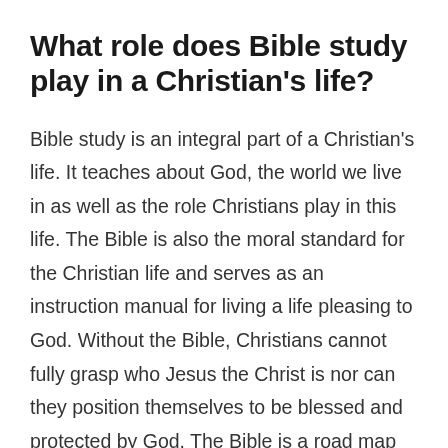What role does Bible study play in a Christian's life?
Bible study is an integral part of a Christian's life. It teaches about God, the world we live in as well as the role Christians play in this life. The Bible is also the moral standard for the Christian life and serves as an instruction manual for living a life pleasing to God. Without the Bible, Christians cannot fully grasp who Jesus the Christ is nor can they position themselves to be blessed and protected by God. The Bible is a road map that leads to a good life on earth and eternal life when this one is over. That's why Bible study is so important. The knowledge, wisdom, and guidance